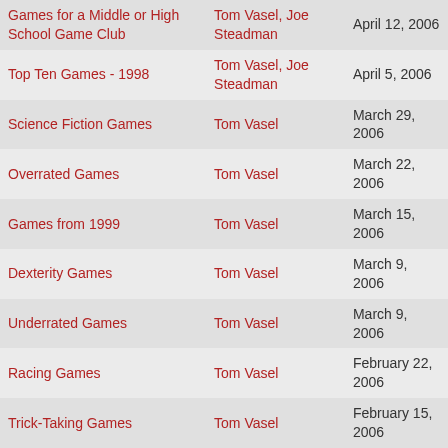| Title | Author | Date |
| --- | --- | --- |
| Games for a Middle or High School Game Club | Tom Vasel, Joe Steadman | April 12, 2006 |
| Top Ten Games - 1998 | Tom Vasel, Joe Steadman | April 5, 2006 |
| Science Fiction Games | Tom Vasel | March 29, 2006 |
| Overrated Games | Tom Vasel | March 22, 2006 |
| Games from 1999 | Tom Vasel | March 15, 2006 |
| Dexterity Games | Tom Vasel | March 9, 2006 |
| Underrated Games | Tom Vasel | March 9, 2006 |
| Racing Games | Tom Vasel | February 22, 2006 |
| Trick-Taking Games | Tom Vasel | February 15, 2006 |
| Games of 2000 | Tom Vasel | February 8, 2006 |